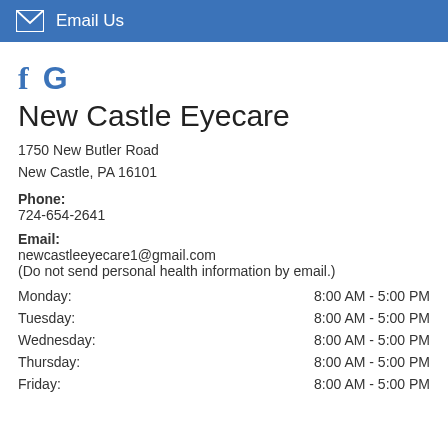Email Us
[Figure (logo): Social media icons: Facebook 'f' and Google 'G' in blue]
New Castle Eyecare
1750 New Butler Road
New Castle, PA 16101
Phone:
724-654-2641
Email:
newcastleeyecare1@gmail.com
(Do not send personal health information by email.)
| Day | Hours |
| --- | --- |
| Monday: | 8:00 AM - 5:00 PM |
| Tuesday: | 8:00 AM - 5:00 PM |
| Wednesday: | 8:00 AM - 5:00 PM |
| Thursday: | 8:00 AM - 5:00 PM |
| Friday: | 8:00 AM - 5:00 PM |